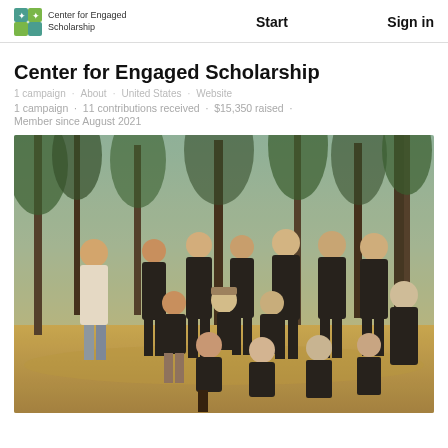Center for Engaged Scholarship | Start | Sign in
Center for Engaged Scholarship
1 campaign · 11 contributions received · $15,350 raised · Member since August 2021
[Figure (photo): Group photo of approximately 15 people wearing black Center for Engaged Scholarship t-shirts, posed outdoors in a forest/woodland setting with pine trees in the background. People are arranged in three rows — standing in back, kneeling/crouching in middle, and sitting on the ground in front.]